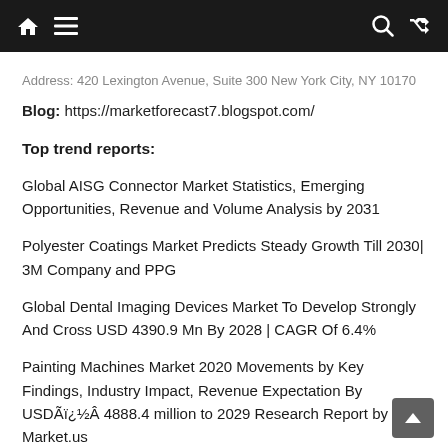Navigation bar with home, menu, search, and shuffle icons
Address: 420 Lexington Avenue, Suite 300 New York City, NY 10170
Blog: https://marketforecast7.blogspot.com/
Top trend reports:
Global AISG Connector Market Statistics, Emerging Opportunities, Revenue and Volume Analysis by 2031
Polyester Coatings Market Predicts Steady Growth Till 2030| 3M Company and PPG
Global Dental Imaging Devices Market To Develop Strongly And Cross USD 4390.9 Mn By 2028 | CAGR Of 6.4%
Painting Machines Market 2020 Movements by Key Findings, Industry Impact, Revenue Expectation By USDÃ¯Â¿Â½Ã¯Â¿Â½Â 4888.4 million to 2029 Research Report by Market.us